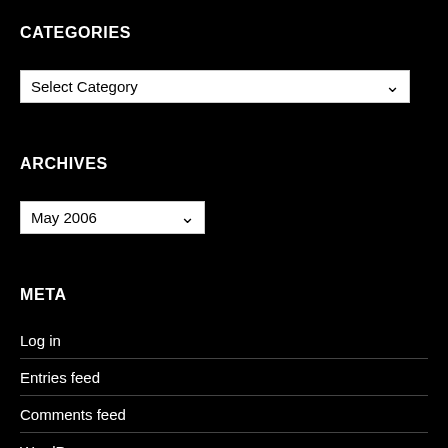CATEGORIES
[Figure (screenshot): Dropdown select box labeled 'Select Category']
ARCHIVES
[Figure (screenshot): Dropdown select box showing 'May 2006']
META
Log in
Entries feed
Comments feed
WordPress.org